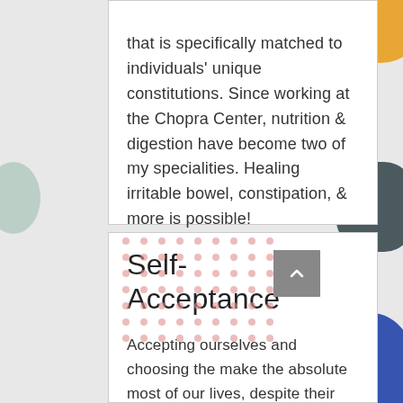that is specifically matched to individuals' unique constitutions. Since working at the Chopra Center, nutrition & digestion have become two of my specialities. Healing irritable bowel, constipation, & more is possible!
Self-Acceptance
Accepting ourselves and choosing the make the absolute most of our lives, despite their challenges, is very important to health and happiness. Acceptance is a